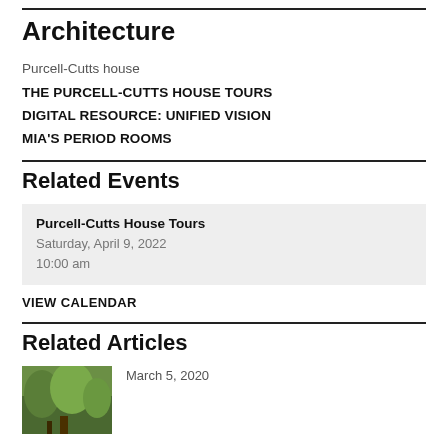Architecture
Purcell-Cutts house
THE PURCELL-CUTTS HOUSE TOURS
DIGITAL RESOURCE: UNIFIED VISION
MIA'S PERIOD ROOMS
Related Events
Purcell-Cutts House Tours
Saturday, April 9, 2022
10:00 am
VIEW CALENDAR
Related Articles
March 5, 2020